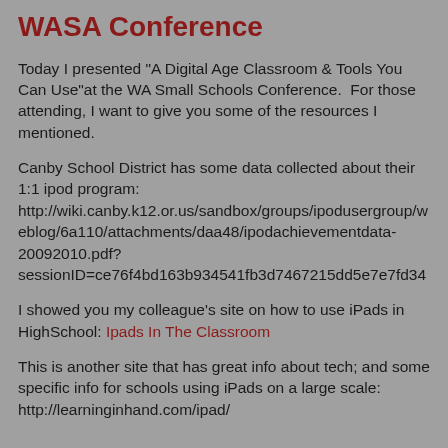WASA Conference
Today I presented "A Digital Age Classroom & Tools You Can Use"at the WA Small Schools Conference.  For those attending, I want to give you some of the resources I mentioned.
Canby School District has some data collected about their 1:1 ipod program: http://wiki.canby.k12.or.us/sandbox/groups/ipodusergroup/weblog/6a110/attachments/daa48/ipodachievementdata-20092010.pdf?sessionID=ce76f4bd163b934541fb3d7467215dd5e7e7fd34
I showed you my colleague's site on how to use iPads in HighSchool: Ipads In The Classroom
This is another site that has great info about tech; and some specific info for schools using iPads on a large scale: http://learninginhand.com/ipad/